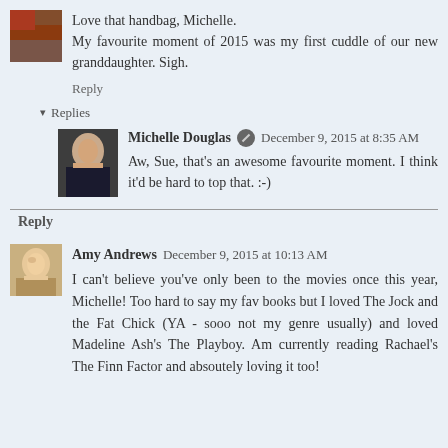Love that handbag, Michelle.
My favourite moment of 2015 was my first cuddle of our new granddaughter. Sigh.
Reply
Replies
Michelle Douglas  December 9, 2015 at 8:35 AM
Aw, Sue, that's an awesome favourite moment. I think it'd be hard to top that. :-)
Reply
Amy Andrews  December 9, 2015 at 10:13 AM
I can't believe you've only been to the movies once this year, Michelle! Too hard to say my fav books but I loved The Jock and the Fat Chick (YA - sooo not my genre usually) and loved Madeline Ash's The Playboy. Am currently reading Rachael's The Finn Factor and absoutely loving it too!